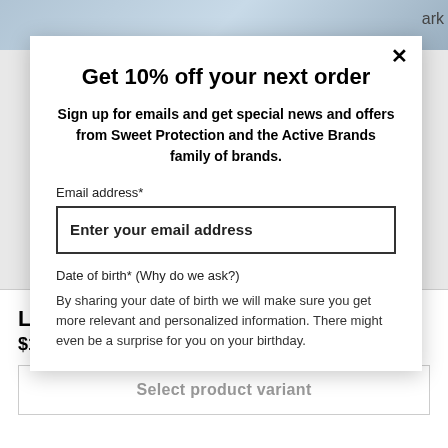[Figure (screenshot): Partial website background with image visible at top]
Get 10% off your next order
Sign up for emails and get special news and offers from Sweet Protection and the Active Brands family of brands.
Email address*
Enter your email address
Date of birth* (Why do we ask?)
By sharing your date of birth we will make sure you get more relevant and personalized information. There might even be a surprise for you on your birthday.
Looper Mips Helmet
$179.95
Select product variant